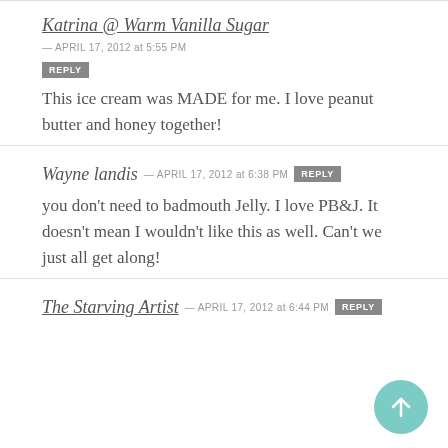Katrina @ Warm Vanilla Sugar — APRIL 17, 2012 at 5:55 PM [REPLY]
This ice cream was MADE for me. I love peanut butter and honey together!
Wayne landis — APRIL 17, 2012 at 6:38 PM [REPLY]
you don't need to badmouth Jelly. I love PB&J. It doesn't mean I wouldn't like this as well. Can't we just all get along!
The Starving Artist — APRIL 17, 2012 at 6:44 PM [REPLY]